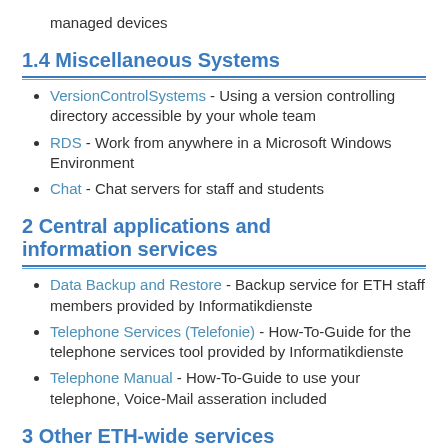managed devices
1.4 Miscellaneous Systems
VersionControlSystems - Using a version controlling directory accessible by your whole team
RDS - Work from anywhere in a Microsoft Windows Environment
Chat - Chat servers for staff and students
2 Central applications and information services
Data Backup and Restore - Backup service for ETH staff members provided by Informatikdienste
Telephone Services (Telefonie) - How-To-Guide for the telephone services tool provided by Informatikdienste
Telephone Manual - How-To-Guide to use your telephone, Voice-Mail asseration included
3 Other ETH-wide services
ProjectNeptun - Laptops for Students